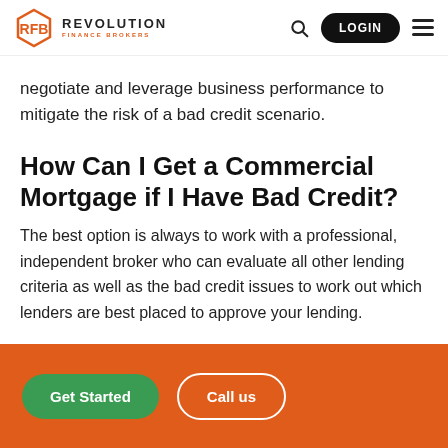REVOLUTION FINANCE BROKERS — Navigation bar with search, login, and menu
negotiate and leverage business performance to mitigate the risk of a bad credit scenario.
How Can I Get a Commercial Mortgage if I Have Bad Credit?
The best option is always to work with a professional, independent broker who can evaluate all other lending criteria as well as the bad credit issues to work out which lenders are best placed to approve your lending.
Get Started  Call us